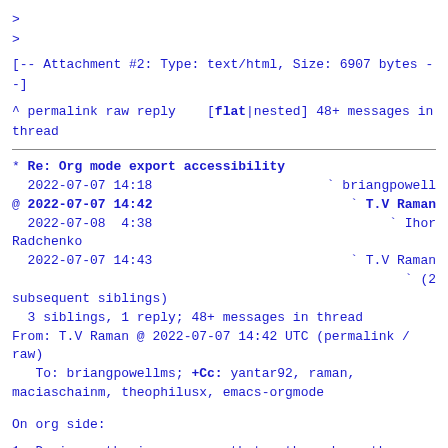>
>
[-- Attachment #2: Type: text/html, Size: 6907 bytes --]
^ permalink raw reply    [flat|nested] 48+ messages in thread
* Re: Org mode export accessibility
  2022-07-07 14:18                             ` briangpowell
@ 2022-07-07 14:42                             ` T.V Raman
  2022-07-08  4:38                               ` Ihor Radchenko
  2022-07-07 14:43                               ` T.V Raman
                                                ` (2 subsequent siblings)
  3 siblings, 1 reply; 48+ messages in thread
From: T.V Raman @ 2022-07-07 14:42 UTC (permalink / raw)
   To: briangpowellms; +Cc: yantar92, raman, maciaschainm theophilusx, emacs-orgmode
On org side:
1. During authoring, ensure that authors have the ability to label
      images, drawings and math content.